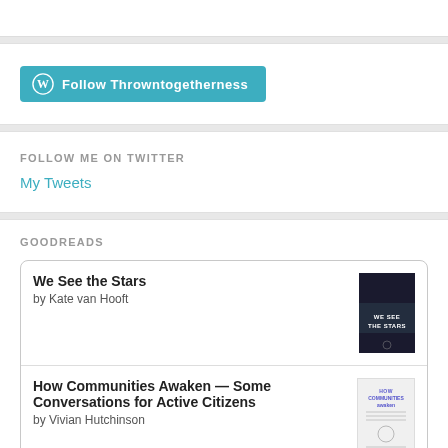[Figure (other): WordPress Follow button with teal background reading 'Follow Throwntogetherness']
FOLLOW ME ON TWITTER
My Tweets
GOODREADS
We See the Stars by Kate van Hooft
How Communities Awaken — Some Conversations for Active Citizens by Vivian Hutchinson